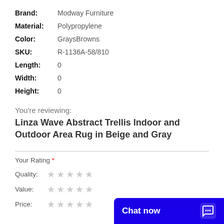Brand: Modway Furniture
Material: Polypropylene
Color: GraysBrowns
SKU: R-1136A-58/810
Length: 0
Width: 0
Height: 0
You're reviewing:
Linza Wave Abstract Trellis Indoor and Outdoor Area Rug in Beige and Gray
Your Rating *
Quality: ★★★★★
Value: ★★★★★
Price: ★★★★★
[Figure (other): Blue chat now button with chat icon overlay in bottom right]